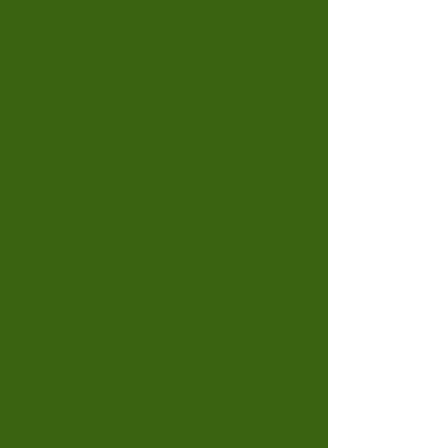[Figure (photo): Dark green background panel on the left side of the page]
I'll link this to 'Anyth to Carolyn's blog t
Marjie
Feb 1, 2013 12:05:0 Media, Sizzix, Stenc
Comi